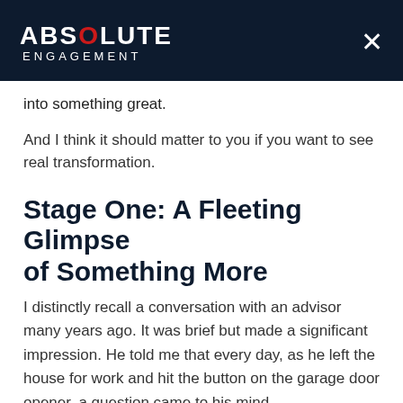ABSOLUTE ENGAGEMENT
into something great.
And I think it should matter to you if you want to see real transformation.
Stage One: A Fleeting Glimpse of Something More
I distinctly recall a conversation with an advisor many years ago. It was brief but made a significant impression. He told me that every day, as he left the house for work and hit the button on the garage door opener, a question came to his mind…